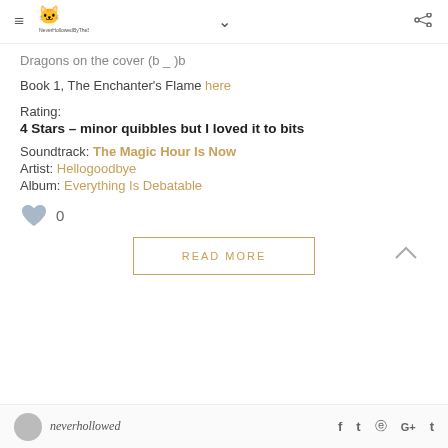≡ [logo: NeverHollowedByTheSea] ∨ ⋮
Dragons on the cover (b _ )b
Book 1, The Enchanter's Flame here
Rating:
4 Stars – minor quibbles but I loved it to bits
Soundtrack: The Magic Hour Is Now
Artist: Hellogoodbye
Album: Everything Is Debatable
♥ 0
READ MORE
neverhollowed  f  t  ℗  G+  t